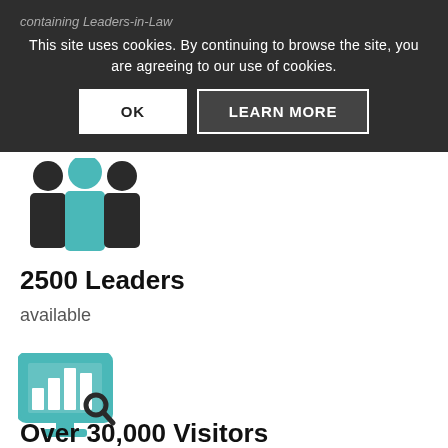containing Leaders-in-Law
This site uses cookies. By continuing to browse the site, you are agreeing to our use of cookies.
[Figure (illustration): Teal/dark silhouette icon of three people standing together]
2500 Leaders
available
[Figure (illustration): Teal icon of a computer monitor displaying a bar chart with a magnifying glass]
Over 30,000 Visitors